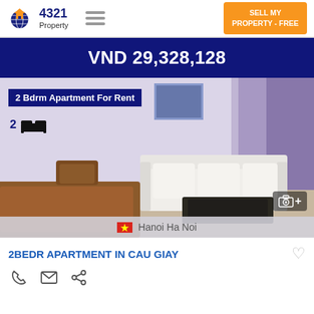4321 Property | SELL MY PROPERTY - FREE
VND 29,328,128
[Figure (photo): Interior photo of a furnished apartment living room with white sofa, wooden dining table, and purple curtains. Shows overlay text: '2 Bdrm Apartment For Rent', bed icon with '2', camera icon with '+'. Location bar shows Vietnamese flag and 'Hanoi Ha Noi'.]
2BEDR APARTMENT IN CAU GIAY